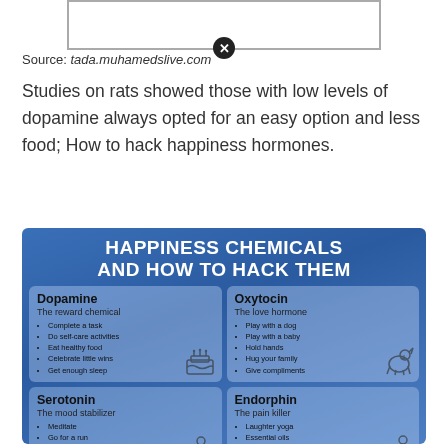[Figure (other): Advertisement banner placeholder with close button (X)]
Source: tada.muhamedslive.com
Studies on rats showed those with low levels of dopamine always opted for an easy option and less food; How to hack happiness hormones.
[Figure (infographic): Happiness Chemicals and How to Hack Them infographic showing four chemicals: Dopamine (The reward chemical), Oxytocin (The love hormone), Serotonin (The mood stabilizer), Endorphin (The pain killer), each with bullet point tips and icons.]